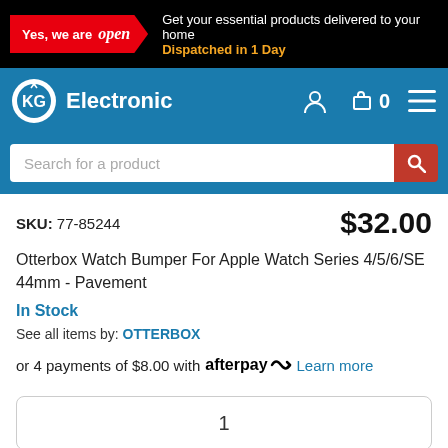Yes, we are open — Get your essential products delivered to your home. Dispatched in 1 Day
[Figure (logo): KG Electronic logo with navigation bar including user icon, cart (0), and menu icon]
Search for a product
SKU: 77-85244   $32.00
Otterbox Watch Bumper For Apple Watch Series 4/5/6/SE 44mm - Pavement
In Stock
See all items by: OTTERBOX
or 4 payments of $8.00 with afterpay Learn more
1